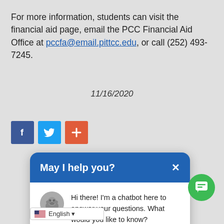For more information, students can visit the financial aid page, email the PCC Financial Aid Office at pccfa@email.pittcc.edu, or call (252) 493-7245.
11/16/2020
[Figure (other): Social share buttons: Facebook (blue), Twitter (light blue), and a red-orange plus/share button]
[Figure (screenshot): Chatbot popup with header 'May I help you?' and message 'Hi there! I'm a chatbot here to answer your questions. What would you like to know?' with a bulldog avatar icon]
[Figure (other): Green circular chat FAB button with chat icon]
English